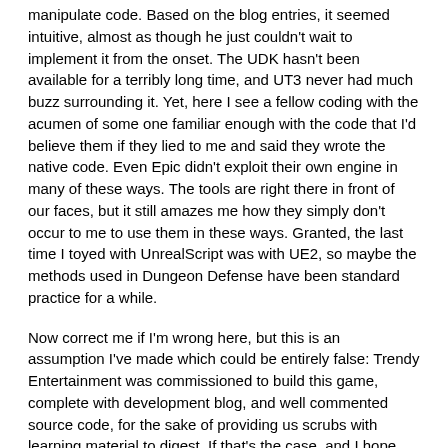manipulate code. Based on the blog entries, it seemed intuitive, almost as though he just couldn't wait to implement it from the onset. The UDK hasn't been available for a terribly long time, and UT3 never had much buzz surrounding it. Yet, here I see a fellow coding with the acumen of some one familiar enough with the code that I'd believe them if they lied to me and said they wrote the native code. Even Epic didn't exploit their own engine in many of these ways. The tools are right there in front of our faces, but it still amazes me how they simply don't occur to me to use them in these ways. Granted, the last time I toyed with UnrealScript was with UE2, so maybe the methods used in Dungeon Defense have been standard practice for a while.
Now correct me if I'm wrong here, but this is an assumption I've made which could be entirely false: Trendy Entertainment was commissioned to build this game, complete with development blog, and well commented source code, for the sake of providing us scrubs with learning material to digest. If that's the case, and I hope that it is since you fellows certainly have the talent to get a good paying gig like that, how many teeth would I have to pull out of your heads to go back over that Blog of yours and expand upon the overlying theory detailed in Blog 8? I read it, I liked it, but it seemed like a glancing overview of the real knowledge behind the guy writing it.
If any of you have the time, and feel so inclined, I think you could give a lot to this surprisingly stagnant (well, perhaps not stagnant, but not exploding as much as I would have suspected a free million-dollar engine scene would be by now) UDK scene by explaining the specifics of what made the writer so enthusiastic about utilizing the software. It would be quite a shame to limit the impact of the shared knowledge available with Dungeon Defense by failing to really get into the details of methodology and theory employed while making it, as the underlying